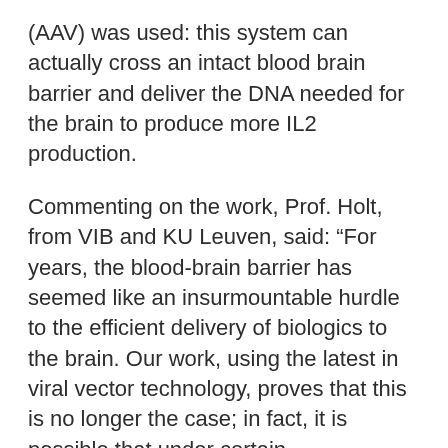(AAV) was used: this system can actually cross an intact blood brain barrier and deliver the DNA needed for the brain to produce more IL2 production.
Commenting on the work, Prof. Holt, from VIB and KU Leuven, said: “For years, the blood-brain barrier has seemed like an insurmountable hurdle to the efficient delivery of biologics to the brain. Our work, using the latest in viral vector technology, proves that this is no longer the case; in fact, it is possible that under certain circumstances, the blood-brain barrier may actually prove to be therapeutically beneficial, serving to prevent ‘leak’ of therapeutics into the rest of the body.”